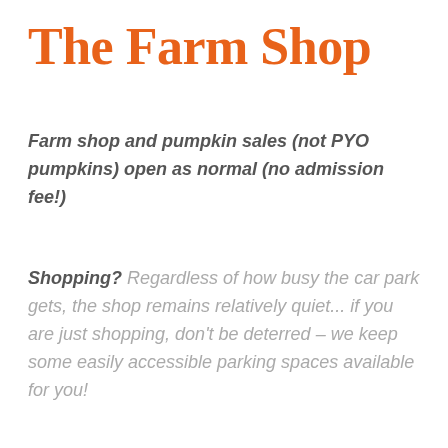The Farm Shop
Farm shop and pumpkin sales (not PYO pumpkins) open as normal (no admission fee!)
Shopping? Regardless of how busy the car park gets, the shop remains relatively quiet... if you are just shopping, don't be deterred – we keep some easily accessible parking spaces available for you!